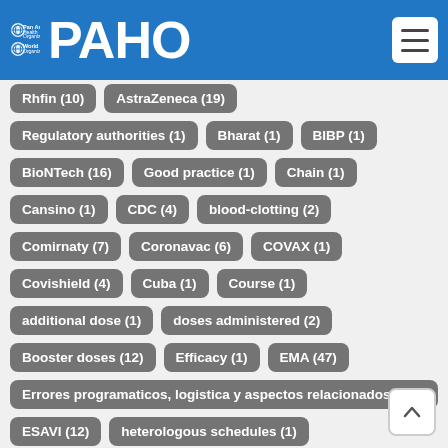PAHO - Pan American Health Organization / World Health Organization
Rhfin (10)
AstraZeneca (19)
Regulatory authorities (1)
Bharat (1)
BIBP (1)
BioNTech (16)
Good practice (1)
Chain (1)
Cansino (1)
CDC (4)
blood-clotting (2)
Comirnaty (7)
Coronavac (6)
COVAX (1)
Covishield (4)
Cuba (1)
Course (1)
additional dose (1)
doses administered (2)
Booster doses (12)
Efficacy (1)
EMA (47)
Errores programaticos, logistica y aspectos relacionados (2)
ESAVI (12)
heterologous schedules (1)
Clinical study (1)
EUL (18)
Adverse event (7)
thrombotic events (6)
Falsified (3)